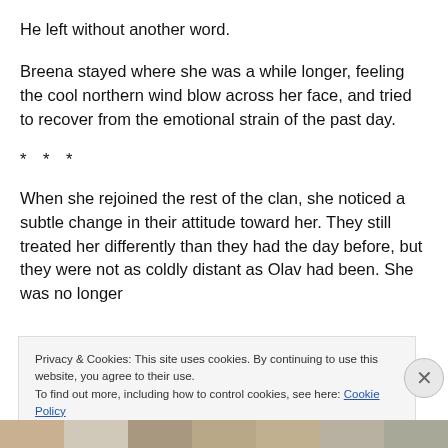He left without another word.
Breena stayed where she was a while longer, feeling the cool northern wind blow across her face, and tried to recover from the emotional strain of the past day.
* * *
When she rejoined the rest of the clan, she noticed a subtle change in their attitude toward her. They still treated her differently than they had the day before, but they were not as coldly distant as Olav had been. She was no longer
Privacy & Cookies: This site uses cookies. By continuing to use this website, you agree to their use.
To find out more, including how to control cookies, see here: Cookie Policy
Close and accept